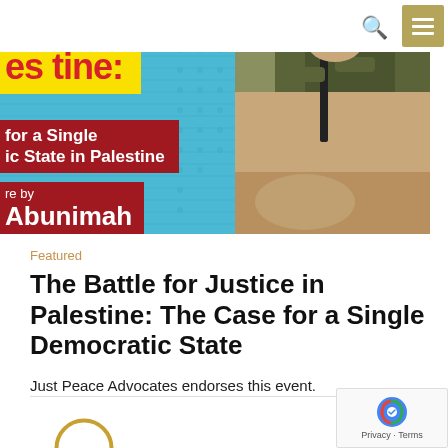[Figure (photo): Book cover for 'The Battle for Justice in Palestine: The Case for a Single Democratic State' by Ali Abunimah, overlaid with a photo of a soldier holding a rifle pressing down on a person]
Featured
The Battle for Justice in Palestine: The Case for a Single Democratic State
Just Peace Advocates endorses this event.